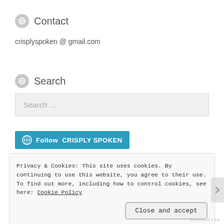Contact
crisplyspoken @ gmail.com
Search
Search …
[Figure (other): Follow CRISPLY SPOKEN button with WordPress logo]
Privacy & Cookies: This site uses cookies. By continuing to use this website, you agree to their use.
To find out more, including how to control cookies, see here: Cookie Policy
Close and accept
REDIRECT.AS